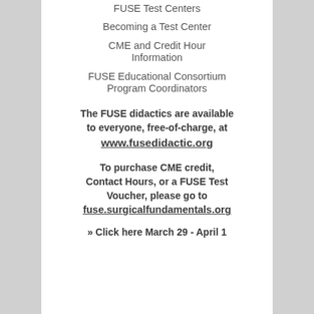FUSE Test Centers
Becoming a Test Center
CME and Credit Hour Information
FUSE Educational Consortium Program Coordinators
The FUSE didactics are available to everyone, free-of-charge, at www.fusedidactic.org
To purchase CME credit, Contact Hours, or a FUSE Test Voucher, please go to fuse.surgicalfundamentals.org
» Click here March 29 - April 1